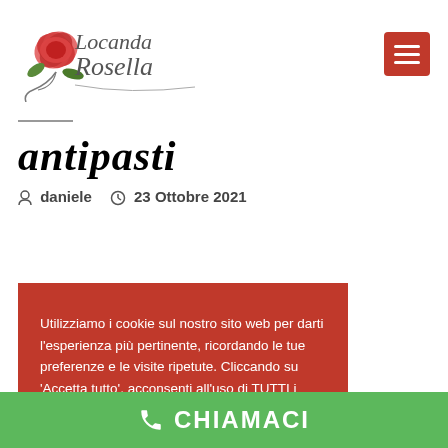[Figure (logo): Locanda Rosella logo with rose illustration and cursive text]
antipasti
daniele   23 Ottobre 2021
Utilizziamo i cookie sul nostro sito web per darti l'esperienza più pertinente, ricordando le tue preferenze e le visite ripetute. Cliccando su 'Accetta tutto', acconsenti all'uso di TUTTI i cookie.
Cookie Settings   Accetta tutti
CHIAMACI